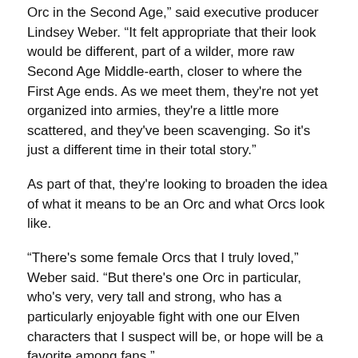Orc in the Second Age," said executive producer Lindsey Weber. "It felt appropriate that their look would be different, part of a wilder, more raw Second Age Middle-earth, closer to where the First Age ends. As we meet them, they're not yet organized into armies, they're a little more scattered, and they've been scavenging. So it's just a different time in their total story."
As part of that, they're looking to broaden the idea of what it means to be an Orc and what Orcs look like.
"There's some female Orcs that I truly loved," Weber said. "But there's one Orc in particular, who's very, very tall and strong, who has a particularly enjoyable fight with one our Elven characters that I suspect will be, or hope will be a favorite among fans."
While the Orcs should be identifiable by even casual Lord of the Rings fans, they'll look a bit different.
"It's a bit like these are the baby versions," Wilson explained. "They're not actually babies, but it's them coming out from the darkness. So this is early on. If you go to past films about them, you see them and they're quite battle-damaged. This is kind of